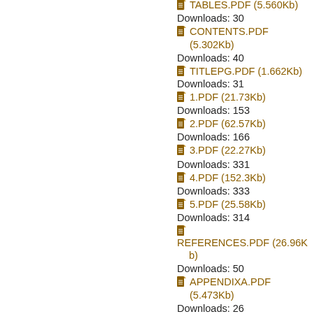TABLES.PDF (5.560Kb)
Downloads: 30
CONTENTS.PDF (5.302Kb)
Downloads: 40
TITLEPG.PDF (1.662Kb)
Downloads: 31
1.PDF (21.73Kb)
Downloads: 153
2.PDF (62.57Kb)
Downloads: 166
3.PDF (22.27Kb)
Downloads: 331
4.PDF (152.3Kb)
Downloads: 333
5.PDF (25.58Kb)
Downloads: 314
REFERENCES.PDF (26.96Kb)
Downloads: 50
APPENDIXA.PDF (5.473Kb)
Downloads: 26
APPB.PDF (1.624Kb)
Downloads: 22